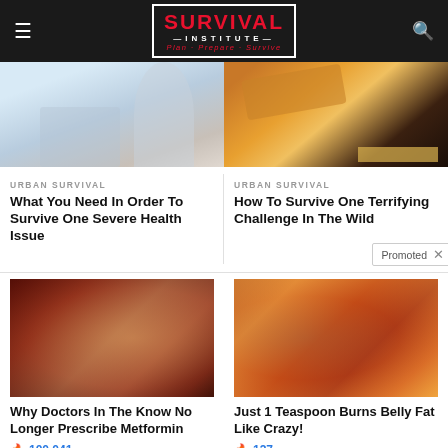SURVIVAL INSTITUTE — Plan · Prepare · Survive
[Figure (photo): Medical/health related blurred photo with hand and white coat]
[Figure (photo): Fire-starting survival technique with burning wood and embers]
URBAN SURVIVAL
What You Need In Order To Survive One Severe Health Issue
URBAN SURVIVAL
How To Survive One Terrifying Challenge In The Wild
Promoted ×
[Figure (photo): Close-up of intestines/organs medical image]
[Figure (photo): Fit woman with abs and spice/cinnamon spoon composite]
Why Doctors In The Know No Longer Prescribe Metformin
🔥 100,041
Just 1 Teaspoon Burns Belly Fat Like Crazy!
🔥 127